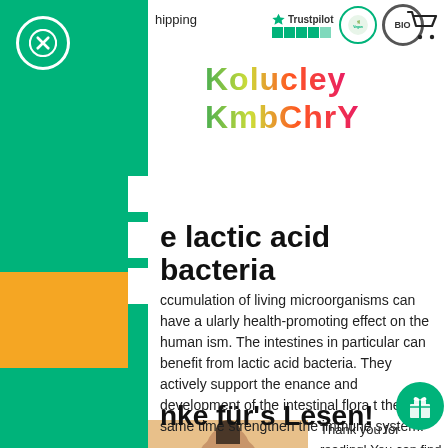hipping
[Figure (logo): Koluvley KmbChrY colorful kombucha brand logo in green, yellow, red gradient letters]
[Figure (logo): Trustpilot logo with 4.5 star rating, Vegan leaf badge, BIO organic badge]
e lactic acid bacteria
ccumulation of living microorganisms can have a ularly health-promoting effect on the human ism. The intestines in particular can benefit from lactic acid bacteria. They actively support the enance and development of the intestinal flora t the same time strengthen the immune system.
nke für's Lesen!
Thank you for reading! You can find more of articles from A, like No Alcoholic Kombucha
[Figure (photo): Person with hair bun, partial face visible against orange/peach background]